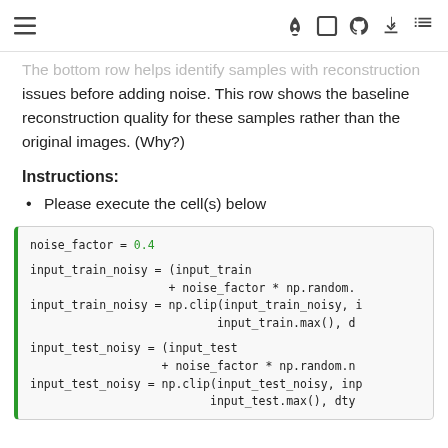☰  🚀  [ ]  ⊙  ⬇  ≡
...the bottom row helps identify samples with reconstruction issues before adding noise. This row shows the baseline reconstruction quality for these samples rather than the original images. (Why?)
Instructions:
Please execute the cell(s) below
[Figure (screenshot): Code cell showing Python code: noise_factor = 0.4, input_train_noisy and input_test_noisy assignments using np.clip and np.random]